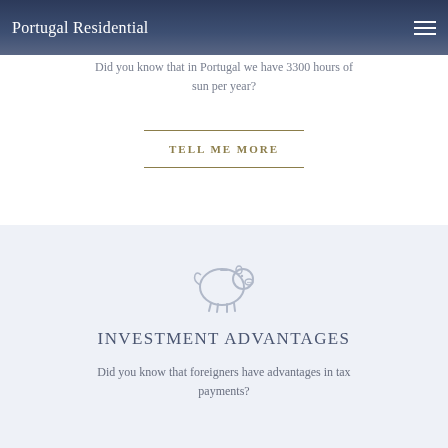Portugal Residential
LIVING IN PORTUGAL
Did you know that in Portugal we have 3300 hours of sun per year?
TELL ME MORE
INVESTMENT ADVANTAGES
Did you know that foreigners have advantages in tax payments?